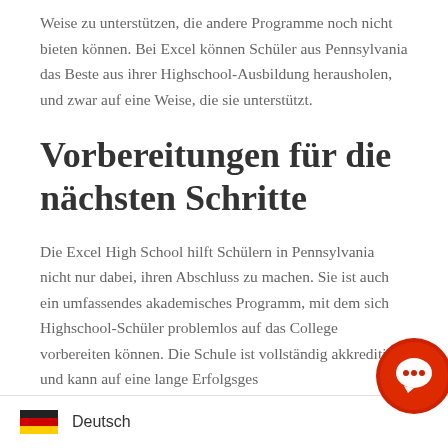Weise zu unterstützen, die andere Programme noch nicht bieten können. Bei Excel können Schüler aus Pennsylvania das Beste aus ihrer Highschool-Ausbildung herausholen, und zwar auf eine Weise, die sie unterstützt.
Vorbereitungen für die nächsten Schritte
Die Excel High School hilft Schülern in Pennsylvania nicht nur dabei, ihren Abschluss zu machen. Sie ist auch ein umfassendes akademisches Programm, mit dem sich Highschool-Schüler problemlos auf das College vorbereiten können. Die Schule ist vollständig akkreditiert und kann auf eine lange Erfolgsges... zurückblicken: Viele Absolvente... Abschluss aufs College. Sie kön...
[Figure (other): German flag icon with 'Deutsch' language selector overlay at the bottom of the page]
[Figure (other): Red circular chat button icon in bottom-right corner]